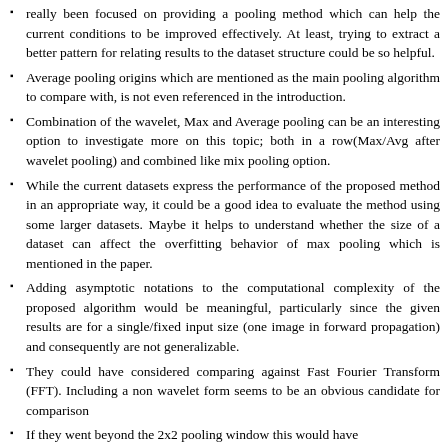really been focused on providing a pooling method which can help the current conditions to be improved effectively. At least, trying to extract a better pattern for relating results to the dataset structure could be so helpful.
Average pooling origins which are mentioned as the main pooling algorithm to compare with, is not even referenced in the introduction.
Combination of the wavelet, Max and Average pooling can be an interesting option to investigate more on this topic; both in a row(Max/Avg after wavelet pooling) and combined like mix pooling option.
While the current datasets express the performance of the proposed method in an appropriate way, it could be a good idea to evaluate the method using some larger datasets. Maybe it helps to understand whether the size of a dataset can affect the overfitting behavior of max pooling which is mentioned in the paper.
Adding asymptotic notations to the computational complexity of the proposed algorithm would be meaningful, particularly since the given results are for a single/fixed input size (one image in forward propagation) and consequently are not generalizable.
They could have considered comparing against Fast Fourier Transform (FFT). Including a non wavelet form seems to be an obvious candidate for comparison
If they went beyond the 2x2 pooling window this would have